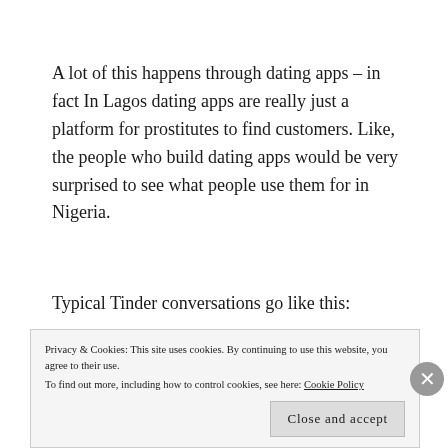A lot of this happens through dating apps – in fact In Lagos dating apps are really just a platform for prostitutes to find customers. Like, the people who build dating apps would be very surprised to see what people use them for in Nigeria.
Typical Tinder conversations go like this:
“Hello.”
“Hello.”
Privacy & Cookies: This site uses cookies. By continuing to use this website, you agree to their use.
To find out more, including how to control cookies, see here: Cookie Policy
Close and accept